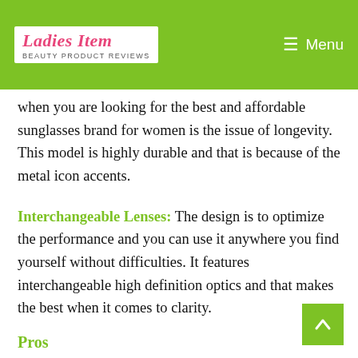Ladies Item — Beauty Product Reviews | Menu
when you are looking for the best and affordable sunglasses brand for women is the issue of longevity. This model is highly durable and that is because of the metal icon accents.
Interchangeable Lenses: The design is to optimize the performance and you can use it anywhere you find yourself without difficulties. It features interchangeable high definition optics and that makes the best when it comes to clarity.
Pros